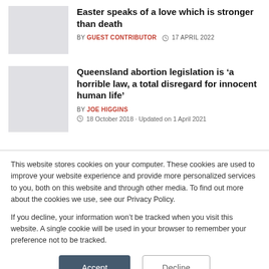Easter speaks of a love which is stronger than death
BY GUEST CONTRIBUTOR  17 April 2022
Queensland abortion legislation is ‘a horrible law, a total disregard for innocent human life’
BY JOE HIGGINS  18 October 2018 · Updated on 1 April 2021
This website stores cookies on your computer. These cookies are used to improve your website experience and provide more personalized services to you, both on this website and through other media. To find out more about the cookies we use, see our Privacy Policy.
If you decline, your information won’t be tracked when you visit this website. A single cookie will be used in your browser to remember your preference not to be tracked.